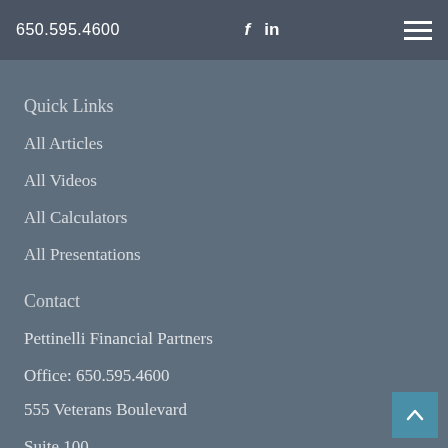650.595.4600  f  in  ☰
Quick Links
All Articles
All Videos
All Calculators
All Presentations
Contact
Pettinelli Financial Partners
Office: 650.595.4600
555 Veterans Boulevard
Suite 100